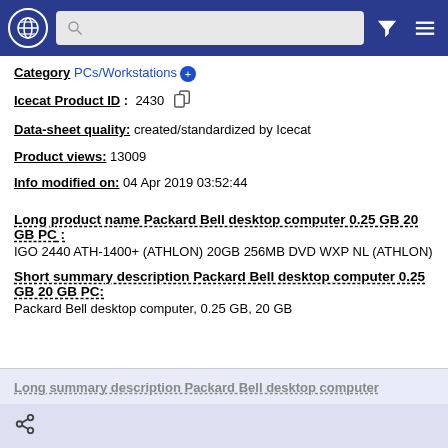Navigation header with globe icon, search bar, filter and menu icons
Category: PCs/Workstations
Icecat Product ID: 2430
Data-sheet quality: created/standardized by Icecat
Product views: 13009
Info modified on: 04 Apr 2019 03:52:44
Long product name Packard Bell desktop computer 0.25 GB 20 GB PC:
IGO 2440 ATH-1400+ (ATHLON) 20GB 256MB DVD WXP NL (ATHLON)
Short summary description Packard Bell desktop computer 0.25 GB 20 GB PC:
Packard Bell desktop computer, 0.25 GB, 20 GB
Long summary description Packard Bell desktop computer
Share